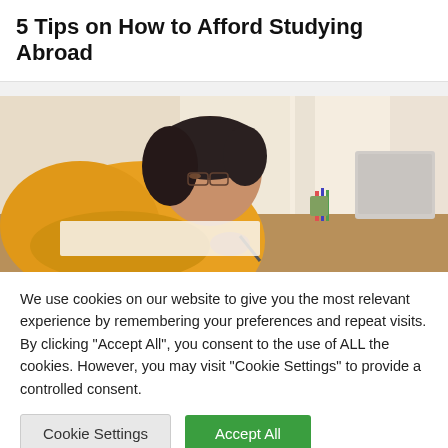5 Tips on How to Afford Studying Abroad
[Figure (photo): A young woman in a yellow shirt with glasses, leaning over a desk and writing, with a laptop in the background and a bright window behind her.]
We use cookies on our website to give you the most relevant experience by remembering your preferences and repeat visits. By clicking "Accept All", you consent to the use of ALL the cookies. However, you may visit "Cookie Settings" to provide a controlled consent.
Cookie Settings   Accept All